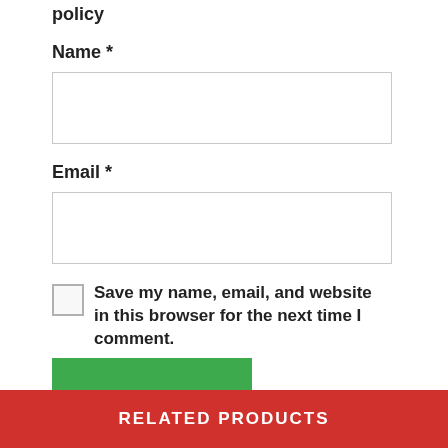policy
Name *
Email *
Save my name, email, and website in this browser for the next time I comment.
SUBMIT
RELATED PRODUCTS